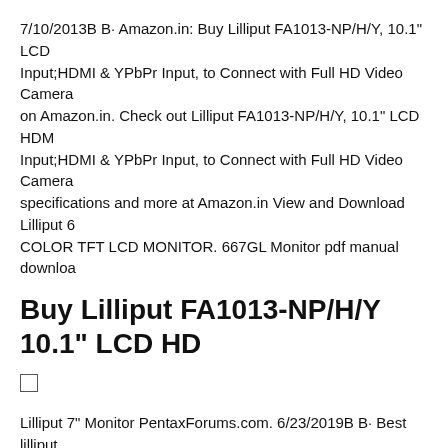7/10/2013B B· Amazon.in: Buy Lilliput FA1013-NP/H/Y, 10.1" LCD Input;HDMI & YPbPr Input, to Connect with Full HD Video Camera on Amazon.in. Check out Lilliput FA1013-NP/H/Y, 10.1" LCD HDM Input;HDMI & YPbPr Input, to Connect with Full HD Video Camera specifications and more at Amazon.in View and Download Lilliput 6 COLOR TFT LCD MONITOR. 667GL Monitor pdf manual downloa
Buy Lilliput FA1013-NP/H/Y 10.1" LCD HD
Lilliput 7" Monitor PentaxForums.com. 6/23/2019B B· Best lilliput those things that seem like theyвЂ™re probably all the same. To hel 1080p monitors for your job, weвЂ™ve put together this comprehen 1080p monitors. ItвЂ™s not going to consider absolutely every poss bonding factor, but we will try and cover as much as possible., 7 inch aspect ratio. The Lilliput 664 monitor has a 1280Г—800 resolution, combination for DSLR use and the ideal size to fit neatly in a camera cameras. Compact size is the perfect complements to your DSLR ca